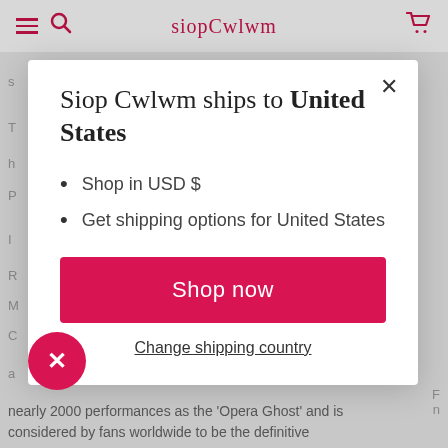siopCwlwm
Siop Cwlwm ships to United States
Shop in USD $
Get shipping options for United States
Shop now
Change shipping country
nearly 2000 performances as the 'Opera Ghost' and is considered by fans worldwide to be the definitive